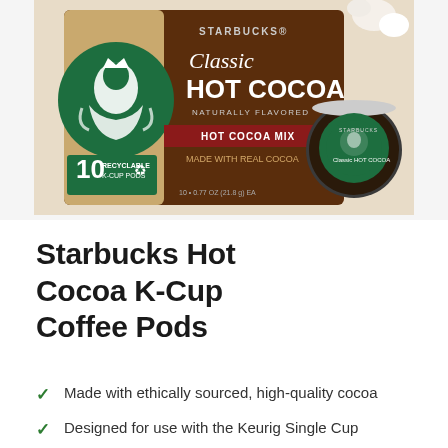[Figure (photo): Starbucks Classic Hot Cocoa K-Cup Coffee Pods box (10 recyclable K-Cup pods) with a single K-Cup pod shown beside it. The box is brown with the Starbucks green siren logo and text: Classic Hot Cocoa, Naturally Flavored, Hot Cocoa Mix, Made with Real Cocoa.]
Starbucks Hot Cocoa K-Cup Coffee Pods
Made with ethically sourced, high-quality cocoa
Designed for use with the Keurig Single Cup